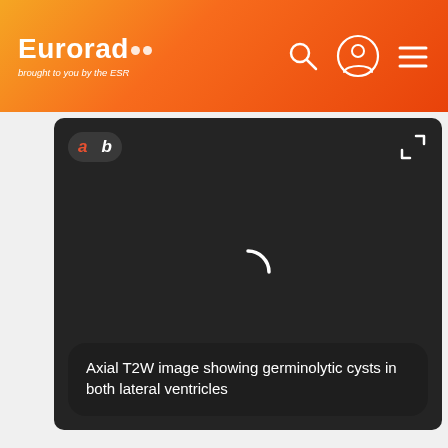Eurorad •• brought to you by the ESR
[Figure (screenshot): Dark medical image viewer showing a loading spinner in the center. The viewer has a tab bar in the top-left with tabs 'a' (red) and 'b' (white) on a dark pill-shaped background, and an expand/fullscreen icon in the top-right corner. The main view area is nearly black with a white arc loading spinner in the center.]
Axial T2W image showing germinolytic cysts in both lateral ventricles